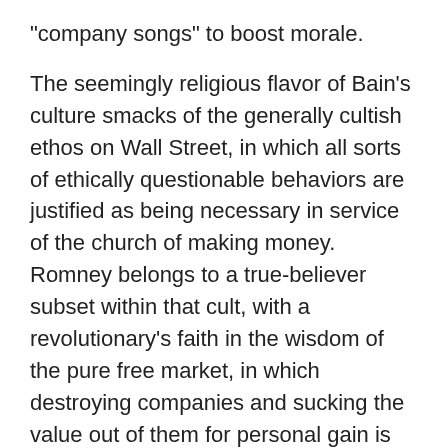"company songs" to boost morale.
The seemingly religious flavor of Bain's culture smacks of the generally cultish ethos on Wall Street, in which all sorts of ethically questionable behaviors are justified as being necessary in service of the church of making money. Romney belongs to a true-believer subset within that cult, with a revolutionary's faith in the wisdom of the pure free market, in which destroying companies and sucking the value out of them for personal gain is part of the greater good, and governments should "stand aside and allow the creative destruction inherent in the free economy."
That cultlike zeal helps explains why Romney takes such a curiously unapologetic approach to his own flip-flopping. His infamous changes of stance are not little wispy ideological alterations of a few degrees here or there –